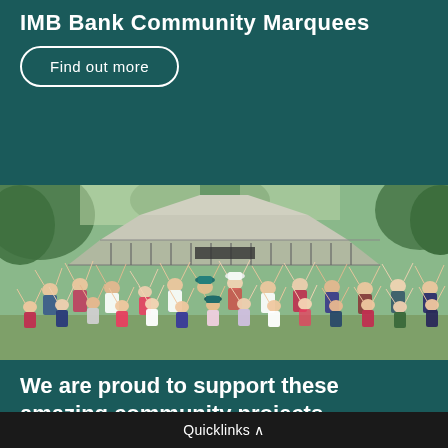IMB Bank Community Marquees
Find out more
[Figure (photo): Large group of children and adults with hands raised in celebration, standing in front of a park rotunda/bandstand structure with a metal roof, surrounded by trees]
We are proud to support these amazing community projects
Quicklinks